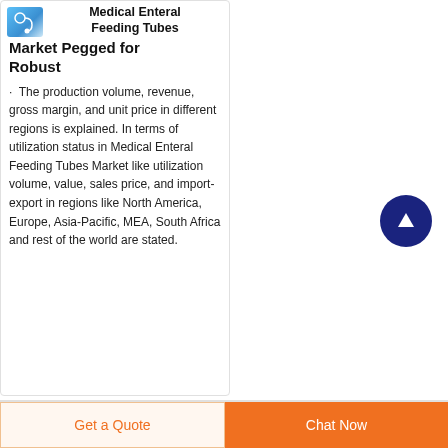Medical Enteral Feeding Tubes Market Pegged for Robust
The production volume, revenue, gross margin, and unit price in different regions is explained. In terms of utilization status in Medical Enteral Feeding Tubes Market like utilization volume, value, sales price, and import-export in regions like North America, Europe, Asia-Pacific, MEA, South Africa and rest of the world are stated.
[Figure (other): Scroll to top button - dark blue circle with white upward arrow]
Get a Quote
Chat Now